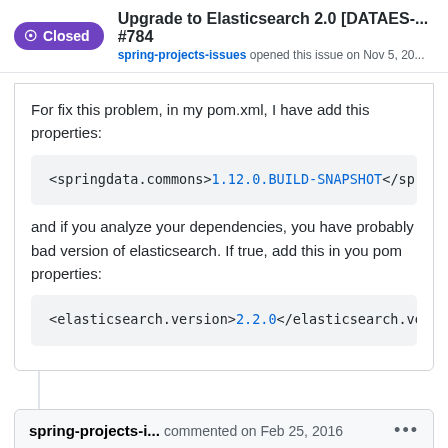Upgrade to Elasticsearch 2.0 [DATAES-... #784
spring-projects-issues opened this issue on Nov 5, 20...
For fix this problem, in my pom.xml, I have add this properties:
<springdata.commons>1.12.0.BUILD-SNAPSHOT</springda...
and if you analyze your dependencies, you have probably bad version of elasticsearch. If true, add this in you pom properties:
<elasticsearch.version>2.2.0</elasticsearch.version...
spring-projects-i... commented on Feb 25, 2016 ...
Christophe Mohimont commented